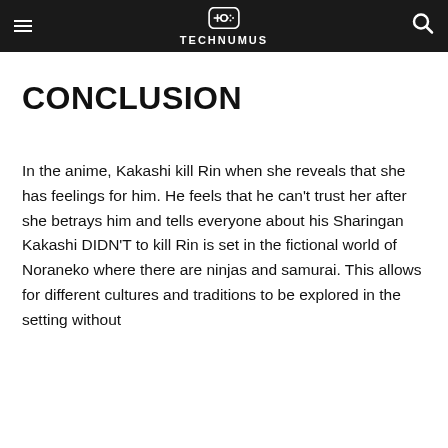TECHNUMUS
CONCLUSION
In the anime, Kakashi kill Rin when she reveals that she has feelings for him. He feels that he can't trust her after she betrays him and tells everyone about his Sharingan Kakashi DIDN'T to kill Rin is set in the fictional world of Noraneko where there are ninjas and samurai. This allows for different cultures and traditions to be explored in the setting without